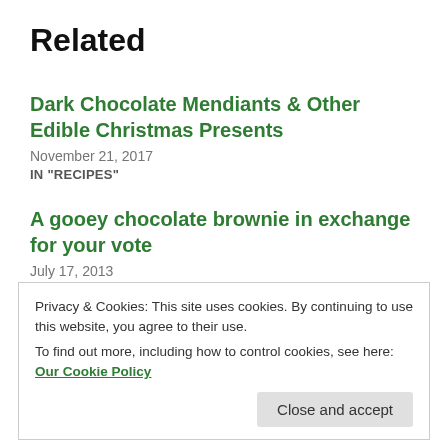Related
Dark Chocolate Mendiants & Other Edible Christmas Presents
November 21, 2017
IN "RECIPES"
A gooey chocolate brownie in exchange for your vote
July 17, 2013
IN "RECIPES"
Privacy & Cookies: This site uses cookies. By continuing to use this website, you agree to their use.
To find out more, including how to control cookies, see here: Our Cookie Policy
Close and accept